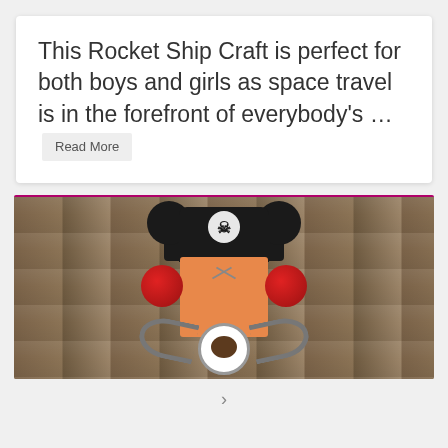This Rocket Ship Craft is perfect for both boys and girls as space travel is in the forefront of everybody's … Read More
[Figure (photo): A handmade craft figure resembling a pirate Mickey Mouse character — orange rectangular body with red pom-poms on the sides, a black pirate hat with skull and crossbones, a gray curly mustache, and a brown/white circular mouth area. Displayed against a wooden fence background.]